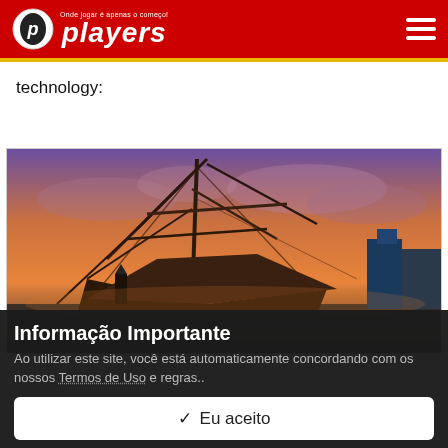players — Onde jogar é apenas o começo!
technology:
[Figure (screenshot): Game screenshot showing destroyed/wrecked sailing ships in a port at dusk with dramatic orange and purple sky.]
Informação Importante
Ao utilizar este site, você está automaticamente concordando com os nossos Termos de Uso e regras..
✓ Eu aceito